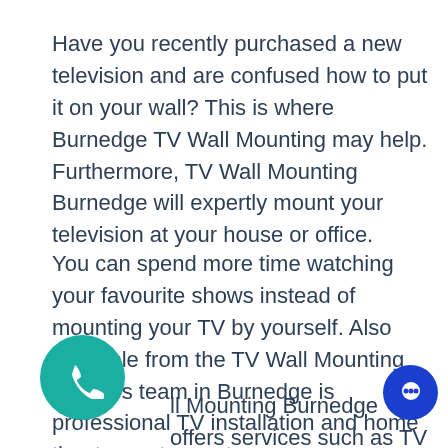Have you recently purchased a new television and are confused how to put it on your wall? This is where Burnedge TV Wall Mounting may help. Furthermore, TV Wall Mounting Burnedge will expertly mount your television at your house or office.
You can spend more time watching your favourite shows instead of mounting your TV by yourself. Also available from the TV Wall Mounting services team in Burnedge is professional TV installation and home theatre system setup.
ll Mounting Burnedge offers services such as TV mounting, speaker wiring on walls,